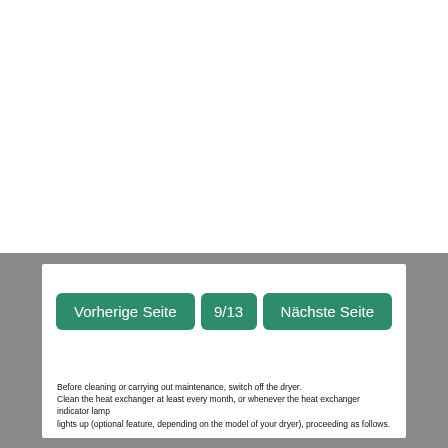[Figure (screenshot): Navigation bar with three green buttons: 'Vorherige Seite', '9/13', and 'Nächste Seite']
Before cleaning or carrying out maintenance, switch off the dryer.
Clean the heat exchanger at least every month, or whenever the heat exchanger indicator lamp lights up (optional feature, depending on the model of your dryer), proceeding as follows.